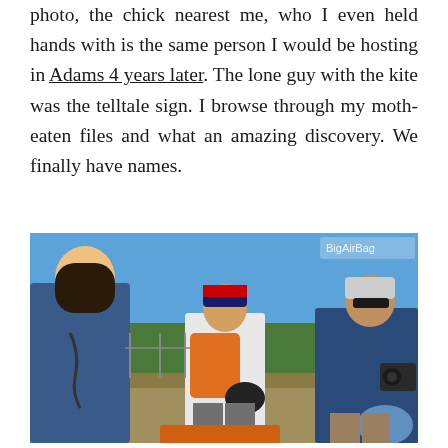photo, the chick nearest me, who I even held hands with is the same person I would be hosting in Adams 4 years later. The lone guy with the kite was the telltale sign. I browse through my moth-eaten files and what an amazing discovery. We finally have names.
[Figure (photo): Outdoor photo of three people standing near a road in a sunny field with trees in the background. The person on the left wears a blue top and holds gear. The person in the middle wears a Red Bull cap, white shirt, and carries a helmet and orange backpack. The person on the right wears a white cap, blue top, and carries a camera and a blue helmet. Blue sky visible.]